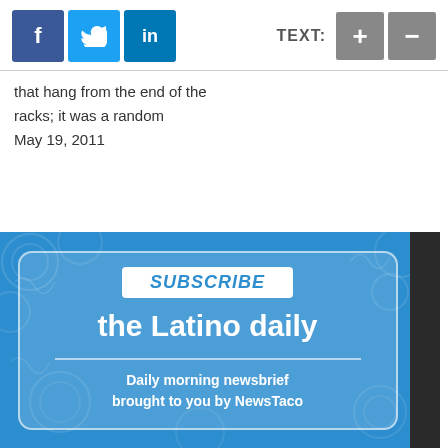[Figure (other): Social media icon buttons: Facebook (f), Twitter (bird icon), LinkedIn (in), and TEXT: + - controls]
that hang from the end of the racks; it was a random
May 19, 2011
[Figure (other): Subscribe banner for 'the Latino daily' — Daily morning newsbrief brought to you by NewsTaco, blue background with decorative pattern]